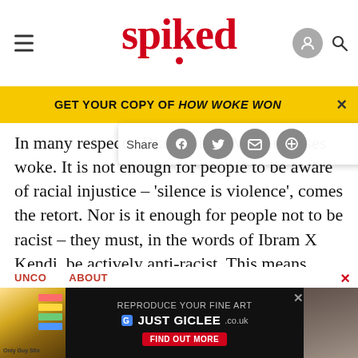spiked
GET YOUR COPY OF HOW WOKE WON
In many respects, Black Lives M[atter] epitomises woke. It is not enough for people to be aware of racial injustice – 'silence is violence', comes the retort. Nor is it enough for people not to be racist – they must, in the words of Ibram X Kendi, be actively anti-racist. This means conforming to a quite specific set of views that fall under the rough heading of critical race theory. This means seeing people as racialised beings who passively enact deeply rooted
[Figure (screenshot): Advertisement banner: REPRODUCE YOUR FINE ART / JUST GICLEE.co.uk with FIND OUT MORE button]
UNCO[NSCIOUS BIAS]
ABOUT